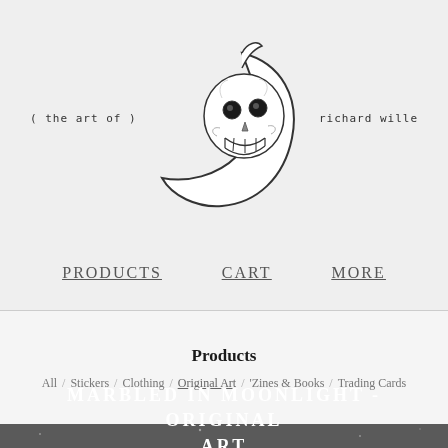[Figure (logo): Skull moon illustration - crescent moon with skull face, grinning expression with hollow eyes. Centered in header area.]
( the art of )
richard wille
PRODUCTS   CART   MORE
Products
All / Stickers / Clothing / Original Art / 'Zines & Books / Trading Cards
[Figure (photo): Dark background product image showing a figure with long dark hair against a night sky with crescent moon and stars. Muted gray tones.]
MARBLED IN MOONLIGHT - ORIGINAL ART
$75.00